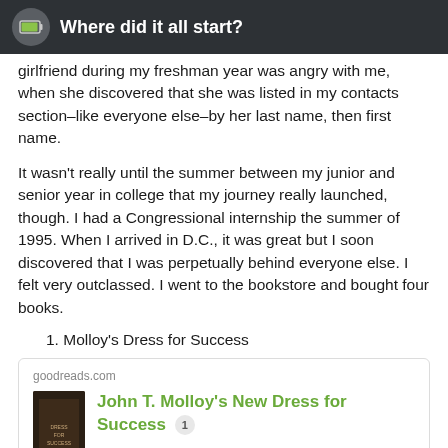Where did it all start?
girlfriend during my freshman year was angry with me, when she discovered that she was listed in my contacts section–like everyone else–by her last name, then first name.
It wasn't really until the summer between my junior and senior year in college that my journey really launched, though. I had a Congressional internship the summer of 1995. When I arrived in D.C., it was great but I soon discovered that I was perpetually behind everyone else. I felt very outclassed. I went to the bookstore and bought four books.
1. Molloy's Dress for Success
[Figure (screenshot): Embedded goodreads.com card showing book 'John T. Molloy's New Dress for Success' with a badge showing 1, book cover image, and partial text 'All the changes that have taken place in...' with a page number overlay showing 16/19]
16 / 19